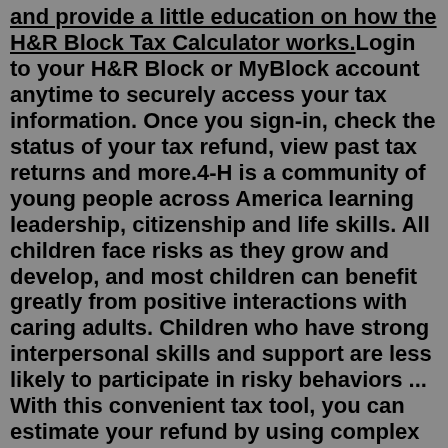and provide a little education on how the H&R Block Tax Calculator works.Login to your H&R Block or MyBlock account anytime to securely access your tax information. Once you sign-in, check the status of your tax refund, view past tax returns and more.4-H is a community of young people across America learning leadership, citizenship and life skills. All children face risks as they grow and develop, and most children can benefit greatly from positive interactions with caring adults. Children who have strong interpersonal skills and support are less likely to participate in risky behaviors ... With this convenient tax tool, you can estimate your refund by using complex set equations with factors that change yearly. Or you can just use our calculators. (Tax Pro Tip: The calculators are way easier.) ... H&R Block has been approved by the California Tax Education Council to offer The H&R Block Income Tax Course, CTEC# 1040-QE-2355 ...The average H&R Block salary ranges from approximately $21,904 per year for Marketing Representative to $150,000 per year for